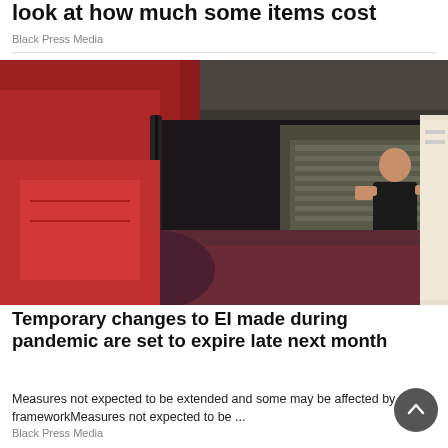look at how much some items cost
Black Press Media
[Figure (photo): Worker assembling a red vehicle on an automotive assembly line, leaning through the vehicle frame]
Temporary changes to EI made during pandemic are set to expire late next month
Measures not expected to be extended and some may be affected by tighter frameworkMeasures not expected to be ...
Black Press Media